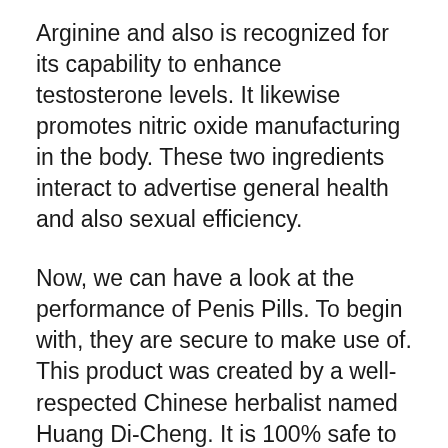Arginine and also is recognized for its capability to enhance testosterone levels. It likewise promotes nitric oxide manufacturing in the body. These two ingredients interact to advertise general health and also sexual efficiency.
Now, we can have a look at the performance of Penis Pills. To begin with, they are secure to make use of. This product was created by a well-respected Chinese herbalist named Huang Di-Cheng. It is 100% safe to use and reliable to boot.
Next, Cock Pills can assist your old man out. Did you recognize that the reason that your old man requires a little pick-me up sometimes is due to the fact that he is